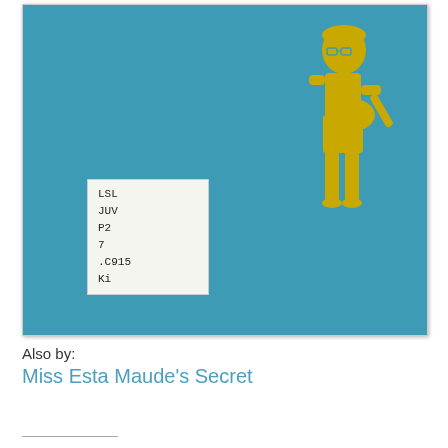[Figure (illustration): Blue hardcover book with a yellow illustration of a child standing and holding a banjo/mandolin. A white library call number label is affixed to the lower-left of the cover reading: LSL JUV P2 7 .C915 Ki]
Also by:
Miss Esta Maude's Secret